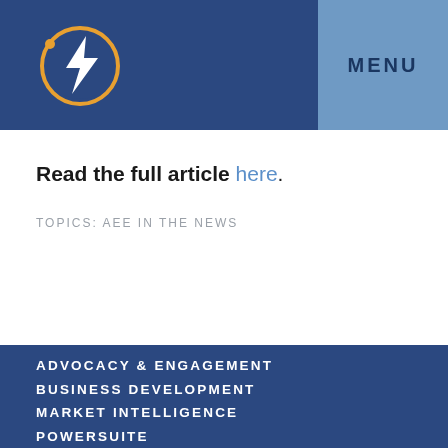[Figure (logo): AEE lightning bolt logo in a circle with orange ring on dark blue background]
MENU
Read the full article here.
TOPICS: AEE IN THE NEWS
ADVOCACY & ENGAGEMENT
BUSINESS DEVELOPMENT
MARKET INTELLIGENCE
POWERSUITE
EVENTS
AEE WEEKLY
AEE BLOG